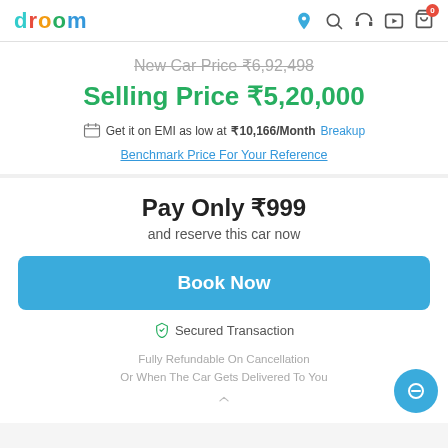droom
New Car Price ₹6,92,498
Selling Price ₹5,20,000
Get it on EMI as low at ₹10,166/Month Breakup
Benchmark Price For Your Reference
Pay Only ₹999
and reserve this car now
Book Now
Secured Transaction
Fully Refundable On Cancellation Or When The Car Gets Delivered To You